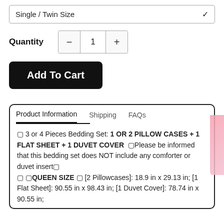Single / Twin Size
Quantity   −   1   +
Add To Cart
Product Information   Shipping   FAQs
🔲 3 or 4 Pieces Bedding Set: 1 OR 2 PILLOW CASES + 1 FLAT SHEET + 1 DUVET COVER 🔲Please be informed that this bedding set does NOT include any comforter or duvet insert🔲 🔲 🔲QUEEN SIZE 🔲 [2 Pillowcases]: 18.9 in x 29.13 in; [1 Flat Sheet]: 90.55 in x 98.43 in; [1 Duvet Cover]: 78.74 in x 90.55 in;